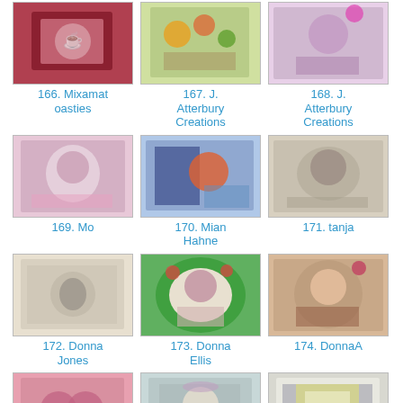[Figure (photo): Craft card thumbnail for entry 166]
166. Mixamatoasties
[Figure (photo): Craft card thumbnail for entry 167]
167. J. Atterbury Creations
[Figure (photo): Craft card thumbnail for entry 168]
168. J. Atterbury Creations
[Figure (photo): Craft card thumbnail for entry 169]
169. Mo
[Figure (photo): Craft card thumbnail for entry 170]
170. Mian Hahne
[Figure (photo): Craft card thumbnail for entry 171]
171. tanja
[Figure (photo): Craft card thumbnail for entry 172]
172. Donna Jones
[Figure (photo): Craft card thumbnail for entry 173]
173. Donna Ellis
[Figure (photo): Craft card thumbnail for entry 174]
174. DonnaA
[Figure (photo): Craft card thumbnail for entry 175]
175. nnalorac GDT
[Figure (photo): Craft card thumbnail for entry 176]
176. Nicola J
[Figure (photo): Craft card thumbnail for entry 177]
177. Elaine GDT